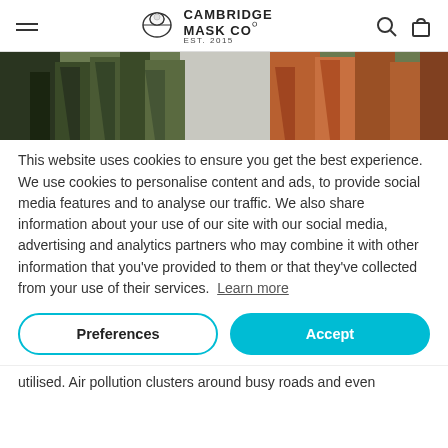Cambridge Mask Co EST. 2015
[Figure (photo): Forest/autumn trees photo banner, showing dark evergreen and orange-red deciduous trees with light sky in background]
This website uses cookies to ensure you get the best experience. We use cookies to personalise content and ads, to provide social media features and to analyse our traffic. We also share information about your use of our site with our social media, advertising and analytics partners who may combine it with other information that you've provided to them or that they've collected from your use of their services. Learn more
Preferences
Accept
utilised. Air pollution clusters around busy roads and even